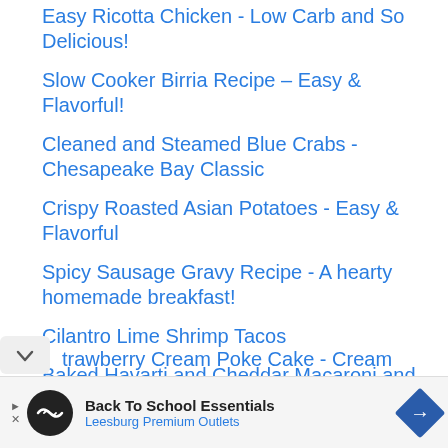Easy Ricotta Chicken - Low Carb and So Delicious!
Slow Cooker Birria Recipe – Easy & Flavorful!
Cleaned and Steamed Blue Crabs - Chesapeake Bay Classic
Crispy Roasted Asian Potatoes - Easy & Flavorful
Spicy Sausage Gravy Recipe - A hearty homemade breakfast!
Cilantro Lime Shrimp Tacos
Baked Havarti and Cheddar Macaroni and Cheese
Strawberry Cream Poke Cake - Cream
Back To School Essentials
Leesburg Premium Outlets